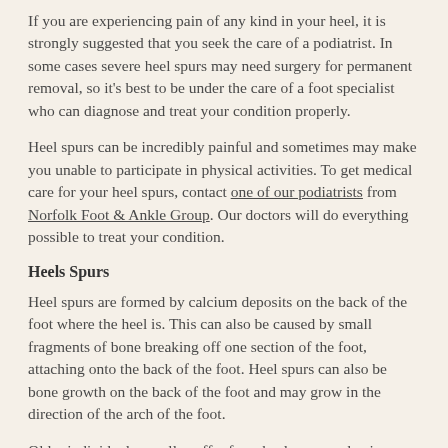If you are experiencing pain of any kind in your heel, it is strongly suggested that you seek the care of a podiatrist. In some cases severe heel spurs may need surgery for permanent removal, so it's best to be under the care of a foot specialist who can diagnose and treat your condition properly.
Heel spurs can be incredibly painful and sometimes may make you unable to participate in physical activities. To get medical care for your heel spurs, contact one of our podiatrists from Norfolk Foot & Ankle Group. Our doctors will do everything possible to treat your condition.
Heels Spurs
Heel spurs are formed by calcium deposits on the back of the foot where the heel is. This can also be caused by small fragments of bone breaking off one section of the foot, attaching onto the back of the foot. Heel spurs can also be bone growth on the back of the foot and may grow in the direction of the arch of the foot.
Older individuals usually suffer from heel spurs and pain sometimes intensifies with age. One of the main